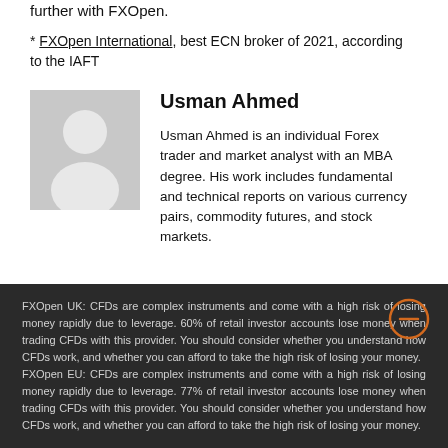further with FXOpen.
* FXOpen International, best ECN broker of 2021, according to the IAFT
[Figure (illustration): Generic user avatar placeholder: grey background with white silhouette of a person]
Usman Ahmed
Usman Ahmed is an individual Forex trader and market analyst with an MBA degree. His work includes fundamental and technical reports on various currency pairs, commodity futures, and stock markets.
FXOpen UK: CFDs are complex instruments and come with a high risk of losing money rapidly due to leverage. 60% of retail investor accounts lose money when trading CFDs with this provider. You should consider whether you understand how CFDs work, and whether you can afford to take the high risk of losing your money. FXOpen EU: CFDs are complex instruments and come with a high risk of losing money rapidly due to leverage. 77% of retail investor accounts lose money when trading CFDs with this provider. You should consider whether you understand how CFDs work, and whether you can afford to take the high risk of losing your money.